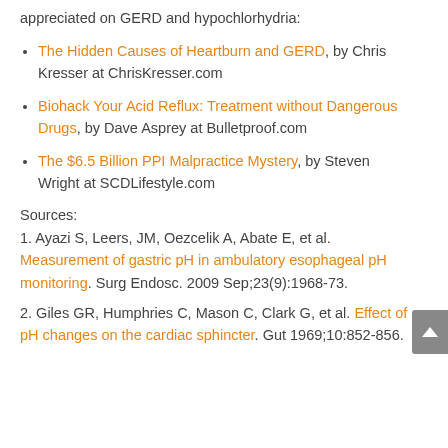appreciated on GERD and hypochlorhydria:
The Hidden Causes of Heartburn and GERD, by Chris Kresser at ChrisKresser.com
Biohack Your Acid Reflux: Treatment without Dangerous Drugs, by Dave Asprey at Bulletproof.com
The $6.5 Billion PPI Malpractice Mystery, by Steven Wright at SCDLifestyle.com
Sources:
1. Ayazi S, Leers, JM, Oezcelik A, Abate E, et al. Measurement of gastric pH in ambulatory esophageal pH monitoring. Surg Endosc. 2009 Sep;23(9):1968-73.
2. Giles GR, Humphries C, Mason C, Clark G, et al. Effect of pH changes on the cardiac sphincter. Gut 1969;10:852-856.